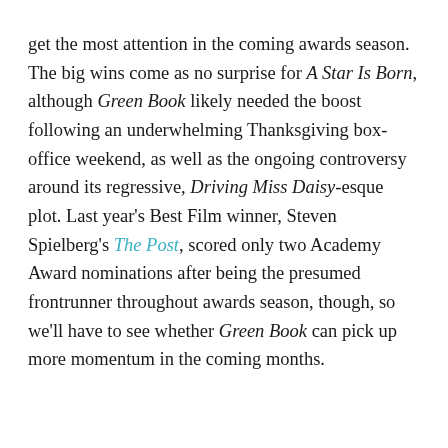get the most attention in the coming awards season. The big wins come as no surprise for A Star Is Born, although Green Book likely needed the boost following an underwhelming Thanksgiving box-office weekend, as well as the ongoing controversy around its regressive, Driving Miss Daisy-esque plot. Last year's Best Film winner, Steven Spielberg's The Post, scored only two Academy Award nominations after being the presumed frontrunner throughout awards season, though, so we'll have to see whether Green Book can pick up more momentum in the coming months.